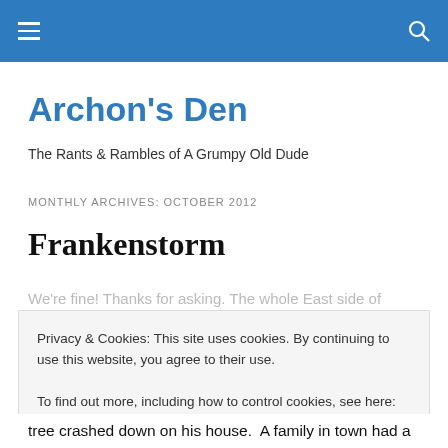Archon's Den
The Rants & Rambles of A Grumpy Old Dude
MONTHLY ARCHIVES: OCTOBER 2012
Frankenstorm
We're fine! Thanks for asking. The whole East side of
Privacy & Cookies: This site uses cookies. By continuing to use this website, you agree to their use.
To find out more, including how to control cookies, see here: Cookie Policy
tree crashed down on his house.  A family in town had a